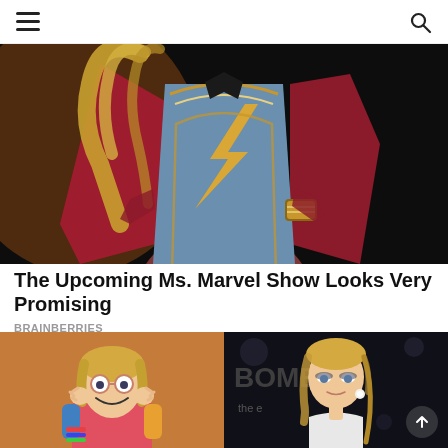Navigation menu and search icon
[Figure (photo): Woman wearing a Ms. Marvel superhero costume — blue bodysuit with gold lightning bolt design and red jacket/cape — posed with hands on hips against a dark background.]
The Upcoming Ms. Marvel Show Looks Very Promising
BRAINBERRIES
[Figure (photo): Two side-by-side photos: left shows a young girl with round glasses making a funny face with hands on cheeks, wearing colorful clothing; right shows a young blonde adult woman at a Bombas event wearing a white outfit and pearl earring.]